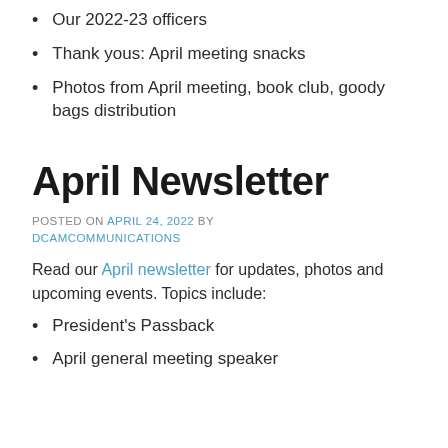Our 2022-23 officers
Thank yous: April meeting snacks
Photos from April meeting, book club, goody bags distribution
April Newsletter
POSTED ON APRIL 24, 2022 BY DCAMCOMMUNICATIONS
Read our April newsletter for updates, photos and upcoming events. Topics include:
President's Passback
April general meeting speaker